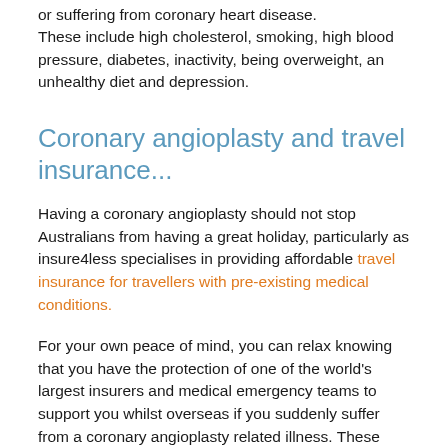or suffering from coronary heart disease. These include high cholesterol, smoking, high blood pressure, diabetes, inactivity, being overweight, an unhealthy diet and depression.
Coronary angioplasty and travel insurance...
Having a coronary angioplasty should not stop Australians from having a great holiday, particularly as insure4less specialises in providing affordable travel insurance for travellers with pre-existing medical conditions.
For your own peace of mind, you can relax knowing that you have the protection of one of the world's largest insurers and medical emergency teams to support you whilst overseas if you suddenly suffer from a coronary angioplasty related illness. These include heart attacks and strokes. We ask you to declare your coronary